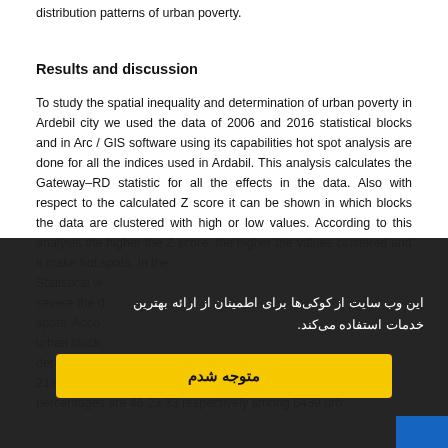distribution patterns of urban poverty.
Results and discussion
To study the spatial inequality and determination of urban poverty in Ardebil city we used the data of 2006 and 2016 statistical blocks and in Arc / GIS software using its capabilities hot spot analysis are done for all the indices used in Ardabil. This analysis calculates the Gateway–RD statistic for all the effects in the data. Also with respect to the calculated Z score it can be shown in which blocks the data are clustered with high or low values. According to this analysis the higher the Z score, the higher the values clustered and it make hot spots. In the Statistical w... severe the d... spots. Acco... urban block... deprived co... 21% were in... percentages are 46 23 33 respectively among 6439 urb...
این وب سایت از کوکی‌ها برای اطمینان از ارائه بهترین خدمات استفاده می‌کند.
متوجه شدم